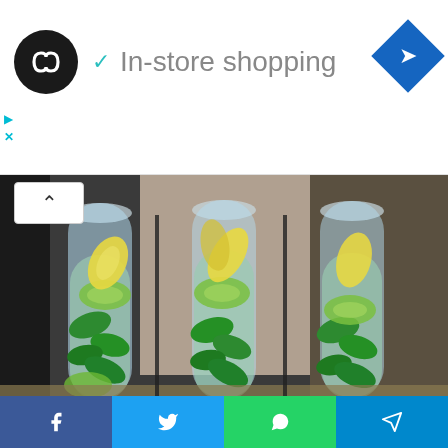[Figure (screenshot): Ad banner with dark circular logo with infinity/loop icon, checkmark and 'In-store shopping' text in gray, blue diamond navigation icon on right. Small cyan play and X icons on left edge below.]
[Figure (photo): Three clear glass bottles filled with water, cucumber slices, fresh mint leaves, and lemon slices, arranged side by side on a counter]
Drink This Before Bed and Drop Body Weight Like Crazy
Health
[Figure (infographic): Social share bar with four buttons: Facebook (blue), Twitter (light blue), WhatsApp (green), Telegram (blue)]